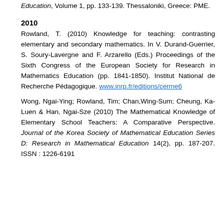Education, Volume 1, pp. 133-139. Thessaloniki, Greece: PME.
2010
Rowland, T. (2010) Knowledge for teaching: contrasting elementary and secondary mathematics. In V. Durand-Guerrier, S. Soury-Lavergne and F. Arzarello (Eds.) Proceedings of the Sixth Congress of the European Society for Research in Mathematics Education (pp. 1841-1850). Institut National de Recherche Pédagogique. www.inrp.fr/editions/cerme6
Wong, Ngai-Ying; Rowland, Tim; Chan,Wing-Sum; Cheung, Ka-Luen & Han, Ngai-Sze (2010) The Mathematical Knowledge of Elementary School Teachers: A Comparative Perspective. Journal of the Korea Society of Mathematical Education Series D: Research in Mathematical Education 14(2), pp. 187-207. ISSN : 1226-6191